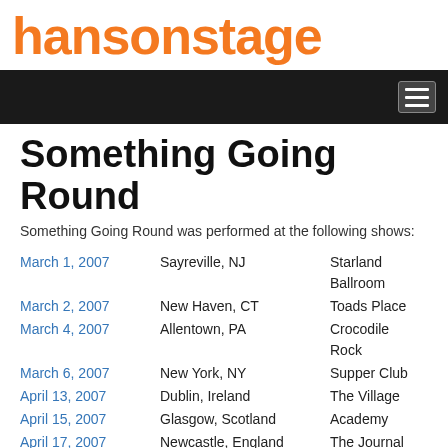hansonstage
Something Going Round
Something Going Round was performed at the following shows:
| Date | City | Venue |
| --- | --- | --- |
| March 1, 2007 | Sayreville, NJ | Starland Ballroom |
| March 2, 2007 | New Haven, CT | Toads Place |
| March 4, 2007 | Allentown, PA | Crocodile Rock |
| March 6, 2007 | New York, NY | Supper Club |
| April 13, 2007 | Dublin, Ireland | The Village |
| April 15, 2007 | Glasgow, Scotland | Academy |
| April 17, 2007 | Newcastle, England | The Journal Tyne Theatre |
| April 18, 2007 | Birmingham, England | Carling Academy |
| April 21, 2007 | Manchester, England | Apollo |
| April 22, 2007 | London, England | Koko |